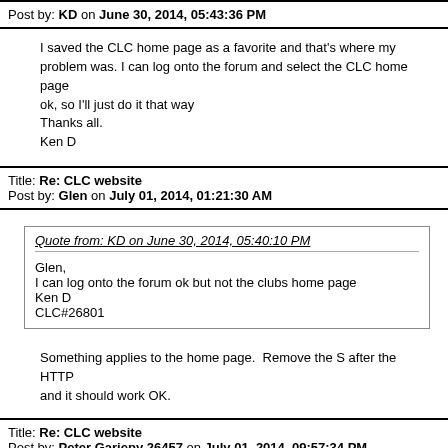Post by: KD on June 30, 2014, 05:43:36 PM
I saved the CLC home page as a favorite and that's where my problem was. I can log onto the forum and select the CLC home page ok, so I'll just do it that way
Thanks all.
Ken D
Title: Re: CLC website
Post by: Glen on July 01, 2014, 01:21:30 AM
Quote from: KD on June 30, 2014, 05:40:10 PM
Glen,
I can log onto the forum ok but not the clubs home page
Ken D
CLC#26801
Something applies to the home page.  Remove the S after the HTTP and it should work OK.
Title: Re: CLC website
Post by: Peter Gariepy 26457 on July 01, 2014, 09:57:34 PM
HTTP is the prefix
HTTPS will not work